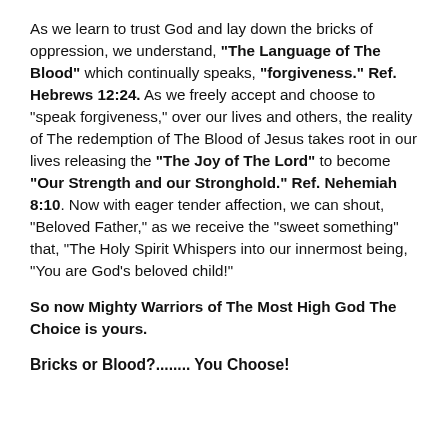As we learn to trust God and lay down the bricks of oppression, we understand, "The Language of The Blood" which continually speaks, "forgiveness." Ref. Hebrews 12:24. As we freely accept and choose to "speak forgiveness," over our lives and others, the reality of The redemption of The Blood of Jesus takes root in our lives releasing the "The Joy of The Lord" to become "Our Strength and our Stronghold." Ref. Nehemiah 8:10. Now with eager tender affection, we can shout, "Beloved Father," as we receive the "sweet something" that, "The Holy Spirit Whispers into our innermost being, "You are God’s beloved child!"
So now Mighty Warriors of The Most High God The Choice is yours.
Bricks or Blood?........ You Choose!